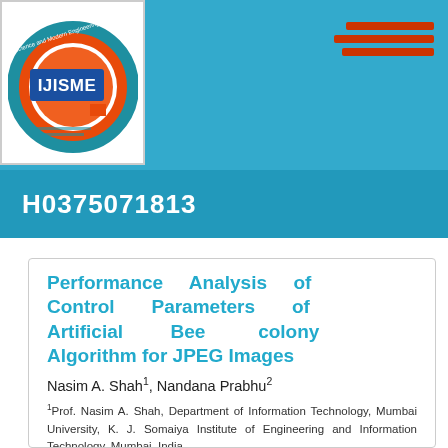[Figure (logo): IJISME journal logo — circular orange/red emblem with text around ring, IJISME in blue rectangle at center, on white background inside teal header]
H0375071813
Performance Analysis of Control Parameters of Artificial Bee colony Algorithm for JPEG Images
Nasim A. Shah1, Nandana Prabhu2
1Prof. Nasim A. Shah, Department of Information Technology, Mumbai University, K. J. Somaiya Institute of Engineering and Information Technology, Mumbai, India.
2Prof. Nandana Prabhu, Department of Information